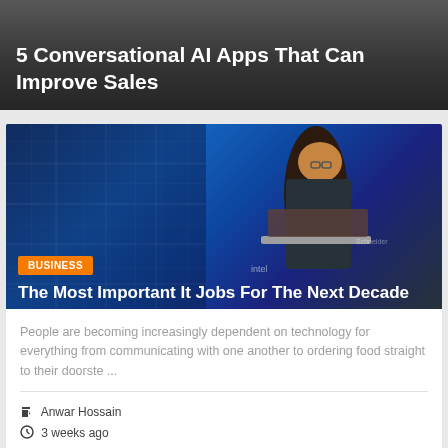5 Conversational AI Apps That Can Improve Sales
[Figure (photo): Woman working on a laptop in a dimly lit office environment with blue-tinted background, Intel logo visible]
BUSINESS
The Most Important It Jobs For The Next Decade
People are becoming increasingly dependent on technology for everything from communicating with one another to ordering food straight to their doorste ...
Anwar Hossain
3 weeks ago
[Figure (photo): Hands gesturing in a meeting or presentation setting with a laptop in the background]